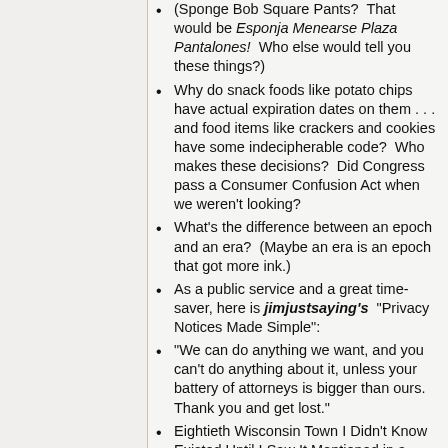(Sponge Bob Square Pants?  That would be Esponja Menearse Plaza Pantalones!  Who else would tell you these things?)
Why do snack foods like potato chips have actual expiration dates on them . . . and food items like crackers and cookies have some indecipherable code?  Who makes these decisions?  Did Congress pass a Consumer Confusion Act when we weren't looking?
What's the difference between an epoch and an era?  (Maybe an era is an epoch that got more ink.)
As a public service and a great time-saver, here is jimjustsaying's  "Privacy Notices Made Simple":
"We can do anything we want, and you can't do anything about it, unless your battery of attorneys is bigger than ours.  Thank you and get lost."
Eightieth Wisconsin Town I Didn't Know Existed Until I Saw It Mentioned in a Green Bay Press-Gazette Obituary: Lark, Wis.. (R.I.P., Ramond C. "Chuck" Schmitt, Green Bay Press-Gazette obituary, Nov. 1, 2017).  Previous entries: Athelstane, Walhain, Duck Creek, Breed, Anston, Sobieski, Amberg, Osseo, Angelica, Brazeau, Waukechon, Sugar Camp, Kossuth, Lessor, Kunesh